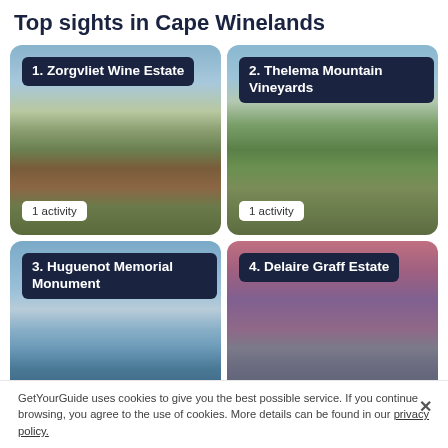Top sights in Cape Winelands
[Figure (photo): 1. Zorgvliet Wine Estate – vineyard landscape with mountains, 1 activity]
[Figure (photo): 2. Thelema Mountain Vineyards – vineyard landscape with mountains, 1 activity]
[Figure (photo): 3. Huguenot Memorial Monument – monument with trees and blue sky, 1 activity]
[Figure (photo): 4. Delaire Graff Estate – sunset landscape with mountains and sculpture, 1 activity]
GetYourGuide uses cookies to give you the best possible service. If you continue browsing, you agree to the use of cookies. More details can be found in our privacy policy.